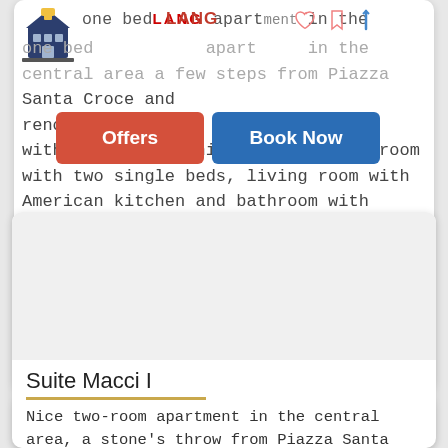one bedroom apartment in the central area a few steps from Piazza Santa Croce and renovated and finished with air conditioning. A double bedroom with two single beds, living room with American kitchen and bathroom with toilet, sink and large shower.
[Figure (screenshot): Offers and Book Now buttons overlay on top card]
Suite Macci I
Nice two-room apartment in the central area, a stone's throw from Piazza Santa Croce and Sant'Ambrogio, the Duomo is